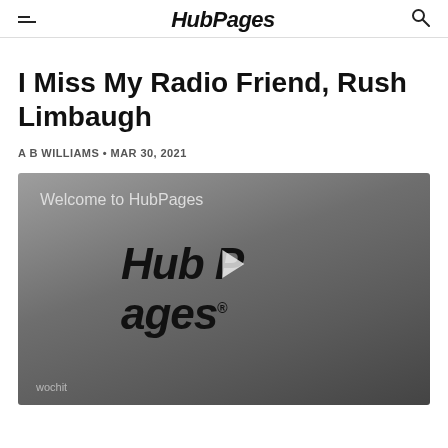HubPages
I Miss My Radio Friend, Rush Limbaugh
A B WILLIAMS • MAR 30, 2021
[Figure (screenshot): Video player thumbnail showing HubPages logo with play button and 'Welcome to HubPages' text. Wochit watermark in bottom left.]